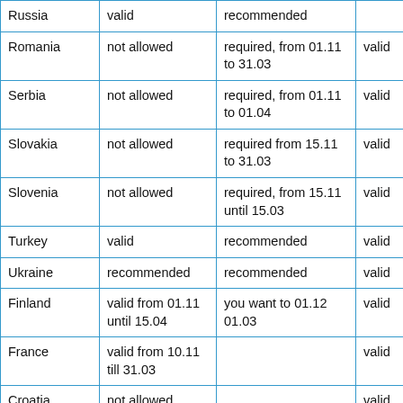| Country | Winter tyres | Snow chains | Green card |
| --- | --- | --- | --- |
| Russia | valid | recommended |  |
| Romania | not allowed | required, from 01.11 to 31.03 | valid |
| Serbia | not allowed | required, from 01.11 to 01.04 | valid |
| Slovakia | not allowed | required from 15.11 to 31.03 | valid |
| Slovenia | not allowed | required, from 15.11 until 15.03 | valid |
| Turkey | valid | recommended | valid |
| Ukraine | recommended | recommended | valid |
| Finland | valid from 01.11 until 15.04 | you want to 01.12 01.03 | valid |
| France | valid from 10.11 till 31.03 |  | valid |
| Croatia | not allowed |  | valid |